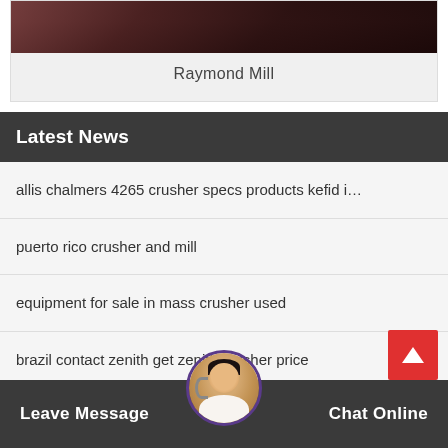[Figure (photo): Partial view of Raymond Mill machinery with dark red/brown metal frame]
Raymond Mill
Latest News
allis chalmers 4265 crusher specs products kefid i…
puerto rico crusher and mill
equipment for sale in mass crusher used
brazil contact zenith get zenith crusher price
cost estimate of crushing plant area
Leave Message   Chat Online